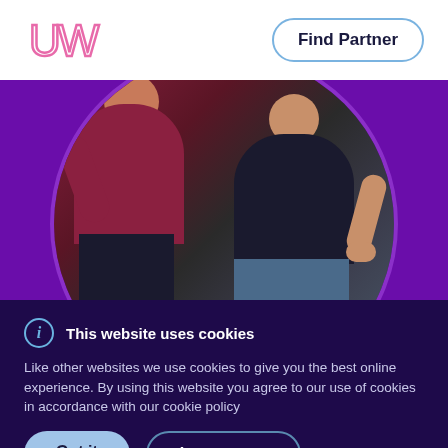[Figure (logo): UW logo in pink cursive lettering]
Find Partner
[Figure (photo): Two people sitting on a couch, one appearing distressed with head in hands (wearing maroon top), another person sitting beside them (wearing dark top and jeans), inside a circular cropped frame on a purple background]
This website uses cookies
Like other websites we use cookies to give you the best online experience. By using this website you agree to our use of cookies in accordance with our cookie policy
Got it
Learn more